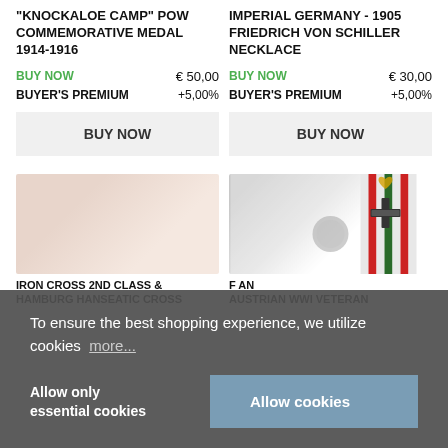"KNOCKALOE CAMP" POW COMMEMORATIVE MEDAL 1914-1916
BUY NOW  € 50,00
BUYER'S PREMIUM  +5,00%
BUY NOW
IMPERIAL GERMANY - 1905 FRIEDRICH VON SCHILLER NECKLACE
BUY NOW  € 30,00
BUYER'S PREMIUM  +5,00%
BUY NOW
[Figure (photo): Partial view of left product image]
[Figure (photo): Partial view of right product - military medals/crosses with striped ribbon]
IRON CROSS 2ND CLASS & HAMBURG HANSEATIC CROSS
F AN
AUSTRIAN WWI VETERAN
To ensure the best shopping experience, we utilize cookies  more...
Allow only essential cookies
Allow cookies